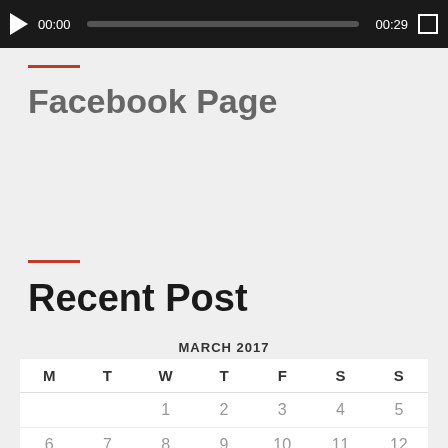[Figure (screenshot): Video player control bar showing play button, time 00:00, progress bar, end time 00:29, and fullscreen button on dark background]
Facebook Page
Recent Post
| M | T | W | T | F | S | S |
| --- | --- | --- | --- | --- | --- | --- |
|  |  | 1 | 2 | 3 | 4 | 5 |
| 6 | 7 | 8 | 9 | 10 | 11 | 12 |
| 13 | 14 | 15 | 16 | 17 | 18 | 19 |